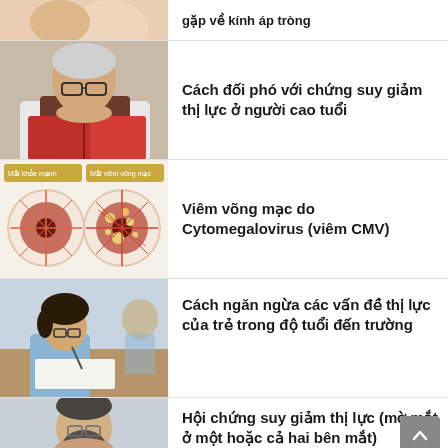[Figure (photo): Partial view of article about kính áp tròng - hands holding contact lens]
gặp về kính áp tròng
[Figure (photo): Elderly man reading a book very closely, wearing glasses]
Cách đối phó với chứng suy giảm thị lực ở người cao tuổi
[Figure (illustration): Medical illustration comparing healthy eye and eye with CMV retinitis]
Viêm võng mạc do Cytomegalovirus (viêm CMV)
[Figure (photo): Young girl writing at school desk, wearing glasses]
Cách ngăn ngừa các vấn đề thị lực của trẻ trong độ tuổi đến trường
[Figure (photo): Man covering face with hands, wearing glasses]
Hội chứng suy giảm thị lực (mờ mắt ở một hoặc cả hai bên mắt)